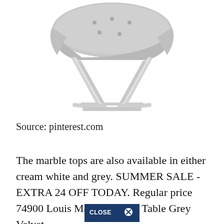[Figure (photo): A grey tufted velvet chair with a shiny silver/chrome X-frame base, photographed on a white background. The chair seat is partially visible at the top, and the metallic crossed legs form a geometric base structure.]
Source: pinterest.com
The marble tops are also available in either cream white and grey. SUMMER SALE - EXTRA 24 OFF TODAY. Regular price 74900 Louis Marble Dining Table Grey Velvet
[Figure (other): CLOSE X button overlay — dark blue pill/banner shaped button with white text reading CLOSE X]